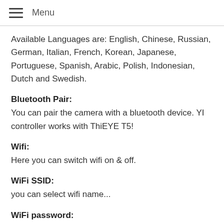Menu
Available Languages are: English, Chinese, Russian, German, Italian, French, Korean, Japanese, Portuguese, Spanish, Arabic, Polish, Indonesian, Dutch and Swedish.
Bluetooth Pair:
You can pair the camera with a bluetooth device. YI controller works with ThiEYE T5!
Wifi:
Here you can switch wifi on & off.
WiFi SSID:
you can select wifi name...
WiFi password:
... as well as wifi password. Standard password is 1234567890.
Format: